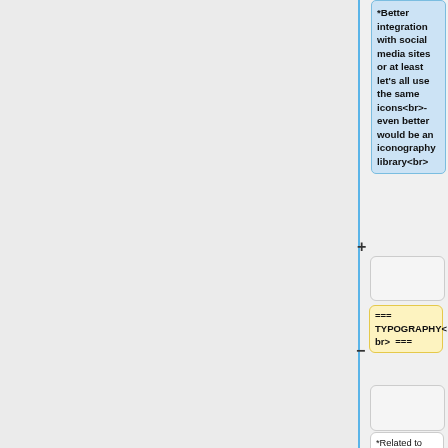[Figure (screenshot): A diff/comparison view showing two columns of content blocks. The right column shows a highlighted blue box with bold text about social media integration and iconography library. Below are diff rows showing a section header change from 'TYPOGRAPHY<br> ===' (yellow/removed) to 'Typography<br> ===' (blue/added). Empty grey boxes appear as spacers. At the bottom, text blocks start with '*Related to navigation issues, a larger font size could improve a users'. Plus and minus markers indicate additions and removals.]